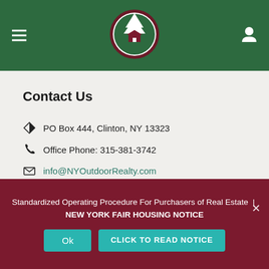NY Outdoor Realty - navigation header with logo
Contact Us
PO Box 444, Clinton, NY 13323
Office Phone: 315-381-3742
info@NYOutdoorRealty.com
Contact us ▶
Standardized Operating Procedure For Purchasers of Real Estate | NEW YORK FAIR HOUSING NOTICE
Ok   CLICK TO READ NOTICE